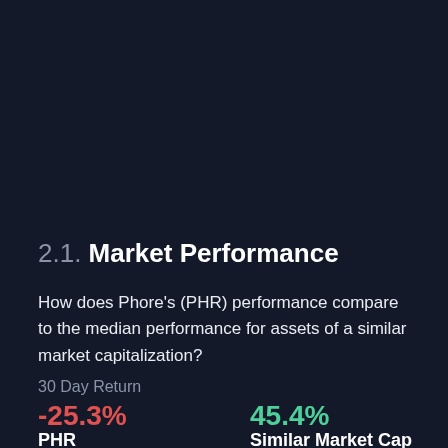2.1. Market Performance
How does Phore's (PHR) performance compare to the median performance for assets of a similar market capitalization?
30 Day Return
-25.3%
PHR
45.4%
Similar Market Cap